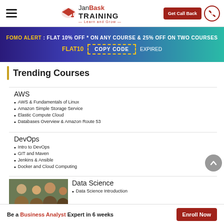[Figure (logo): JanBask Training logo with hamburger menu and Get Call Back button]
FOMO ALERT : FLAT 10% OFF * ON ANY COURSE & 25% OFF ON TWO COURSES
FLAT10  COPY CODE  EXPIRED
Trending Courses
AWS
AWS & Fundamentals of Linux
Amazon Simple Storage Service
Elastic Compute Cloud
Databases Overview & Amazon Route 53
DevOps
Intro to DevOps
GIT and Maven
Jenkins & Ansible
Docker and Cloud Computing
Data Science
Data Science Introduction
Be a Business Analyst Expert in 6 weeks
Enroll Now